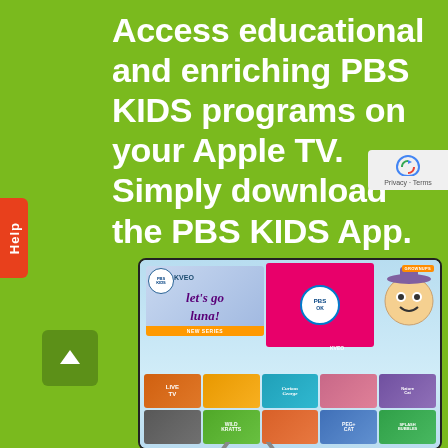Access educational and enriching PBS KIDS programs on your Apple TV. Simply download the PBS KIDS App.
[Figure (screenshot): Screenshot of the PBS KIDS app running on Apple TV, showing a home screen with the Let's Go Luna! new series banner, PBS KIDS logo center panel, show thumbnails including Live TV, Daniel Tiger, Curious George, Nature Cat, Odd Squad, Wild Kratts, Peg + Cat, and Splash and Bubbles.]
Privacy · Terms